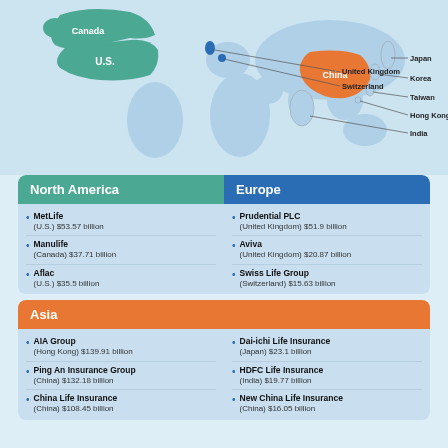[Figure (map): World map highlighting insurance company regions: Canada and U.S. in green (North America), China in orange (Asia), and other labeled countries including United Kingdom, Switzerland, Japan, Korea, Taiwan, Hong Kong, India]
North America
Europe
MetLife (U.S.) $53.57 billion
Prudential PLC (United Kingdom) $51.9 billion
Manulife (Canada) $37.71 billion
Aviva (United Kingdom) $20.87 billion
Aflac (U.S.) $35.5 billion
Swiss Life Group (Switzerland) $15.63 billion
Asia
AIA Group (Hong Kong) $139.91 billion
Dai-ichi Life Insurance (Japan) $23.1 billion
Ping An Insurance Group (China) $132.18 billion
HDFC Life Insurance (India) $19.77 billion
China Life Insurance (China) $108.45 billion
New China Life Insurance (China) $16.05 billion